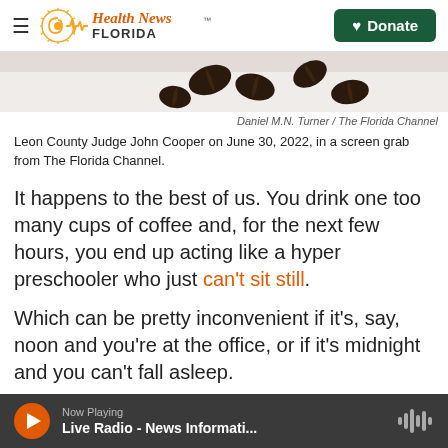Health News Florida — Donate
[Figure (photo): Partial image of coffee beans on a light background]
Daniel M.N. Turner / The Florida Channel
Leon County Judge John Cooper on June 30, 2022, in a screen grab from The Florida Channel.
It happens to the best of us. You drink one too many cups of coffee and, for the next few hours, you end up acting like a hyper preschooler who just can't sit still.
Which can be pretty inconvenient if it's, say, noon and you're at the office, or if it's midnight and you can't fall asleep.
Now Playing — Live Radio - News Informati...